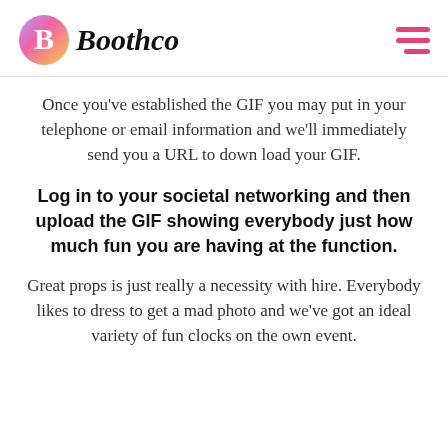[Figure (logo): Boothco logo with colorful circular B icon and italic bold text 'Boothco']
Once you've established the GIF you may put in your telephone or email information and we'll immediately send you a URL to down load your GIF.
Log in to your societal networking and then upload the GIF showing everybody just how much fun you are having at the function.
Great props is just really a necessity with hire. Everybody likes to dress to get a mad photo and we've got an ideal variety of fun clocks on the own event.